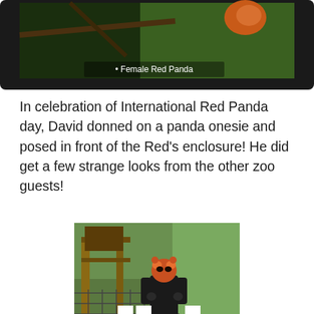[Figure (photo): Video player frame showing a female red panda on a branch in a tree, with dark border/frame around a nature scene. Caption reads 'Female Red Panda'.]
In celebration of International Red Panda day, David donned on a panda onesie and posed in front of the Red's enclosure! He did get a few strange looks from the other zoo guests!
[Figure (photo): Person wearing a black panda onesie costume with a red panda mask/head, standing in front of a zoo enclosure with wooden structures and fencing. Information signs are visible on the fence.]
Back to the Red Pandas and after taking an abundant